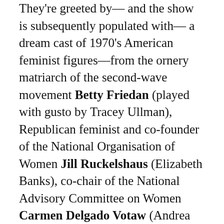They're greeted by— and the show is subsequently populated with— a dream cast of 1970's American feminist figures—from the ornery matriarch of the second-wave movement Betty Friedan (played with gusto by Tracey Ullman), Republican feminist and co-founder of the National Organisation of Women Jill Ruckelshaus (Elizabeth Banks), co-chair of the National Advisory Committee on Women Carmen Delgado Votaw (Andrea Navedo)— and even a sneaky cameo from a future Supreme Court justice (Tara Nicodemo). In a conversation between Steinem and a Ford-appointee looking to start a women's taskforce, the talk turns to Schlafly, and the potential for a public face-off. "Maybe we should debate her. Ma...